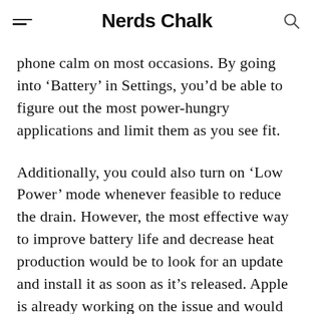Nerds Chalk
phone calm on most occasions. By going into ‘Battery’ in Settings, you’d be able to figure out the most power-hungry applications and limit them as you see fit.
Additionally, you could also turn on ‘Low Power’ mode whenever feasible to reduce the drain. However, the most effective way to improve battery life and decrease heat production would be to look for an update and install it as soon as it’s released. Apple is already working on the issue and would do